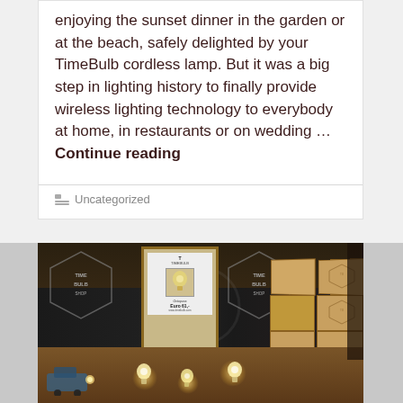enjoying the sunset dinner in the garden or at the beach, safely delighted by your TimeBulb cordless lamp. But it was a big step in lighting history to finally provide wireless lighting technology to everybody at home, in restaurants or on wedding …Continue reading
Uncategorized
[Figure (photo): Photo of a TimeBulb shop display showing two dark boards with hexagonal TimeBulb Shop logos, a framed advertisement poster in the center, and numerous product boxes stacked on the right. Small decorative lamps and a miniature train scene are visible in the foreground.]